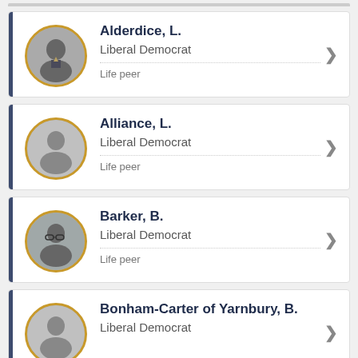Alderdice, L. | Liberal Democrat | Life peer
Alliance, L. | Liberal Democrat | Life peer
Barker, B. | Liberal Democrat | Life peer
Bonham-Carter of Yarnbury, B. | Liberal Democrat